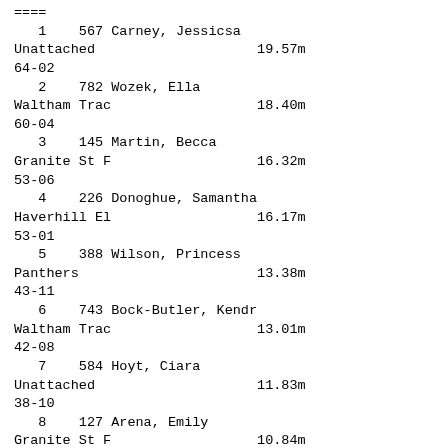====
1    567 Carney, Jessicsa
Unattached                    19.57m
64-02
2    782 Wozek, Ella
Waltham Trac                  18.40m
60-04
3    145 Martin, Becca
Granite St F                  16.32m
53-06
4    226 Donoghue, Samantha
Haverhill El                  16.17m
53-01
5    388 Wilson, Princess
Panthers                      13.38m
43-11
6    743 Bock-Butler, Kendr
Waltham Trac                  13.01m
42-08
7    584 Hoyt, Ciara
Unattached                    11.83m
38-10
8    127 Arena, Emily
Granite St F                  10.84m
35-07
9    433 Sleiman, Kaylee
Quincy Stars                  10.48m
34-04
10    472 Ramage, Christy
Sentinel Str                  10.47m